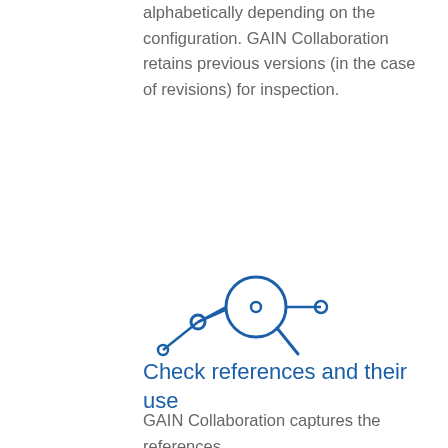alphabetically depending on the configuration. GAIN Collaboration retains previous versions (in the case of revisions) for inspection.
[Figure (illustration): Network/search icon in dark blue: a node-and-edge graph overlaid with a magnifying glass symbol]
Check references and their use
GAIN Collaboration captures the references